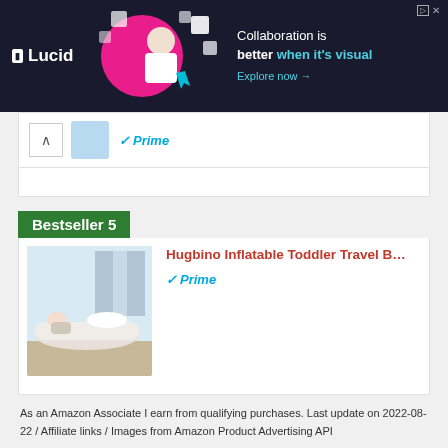[Figure (screenshot): Lucid advertisement banner: dark navy background with Lucid logo on left, illustrated graphic of person with colorful shapes in center, text 'Collaboration is better when it's visual. Explore now →' on right.]
[Figure (screenshot): Partial product card showing Amazon Prime badge and product thumbnail image (dental/beauty device).]
Bestseller 5
[Figure (photo): Amazon product card for Hugbino Inflatable Toddler Travel B... showing an inflatable travel bed with a child on it in a bedroom setting, with Amazon Prime badge.]
Hugbino Inflatable Toddler Travel B...
As an Amazon Associate I earn from qualifying purchases. Last update on 2022-08-22 / Affiliate links / Images from Amazon Product Advertising API
[Figure (photo): Circular black and white portrait photo of a smiling woman.]